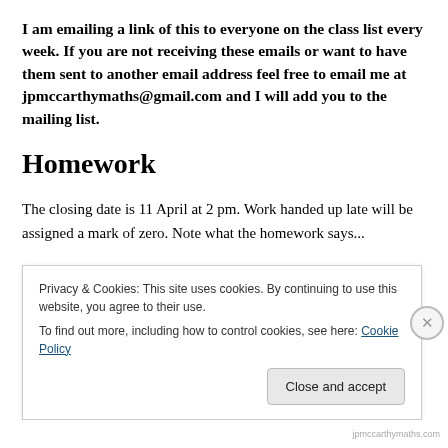I am emailing a link of this to everyone on the class list every week. If you are not receiving these emails or want to have them sent to another email address feel free to email me at jpmccarthymaths@gmail.com and I will add you to the mailing list.
Homework
The closing date is 11 April at 2 pm. Work handed up late will be assigned a mark of zero. Note what the homework says...
Privacy & Cookies: This site uses cookies. By continuing to use this website, you agree to their use.
To find out more, including how to control cookies, see here: Cookie Policy